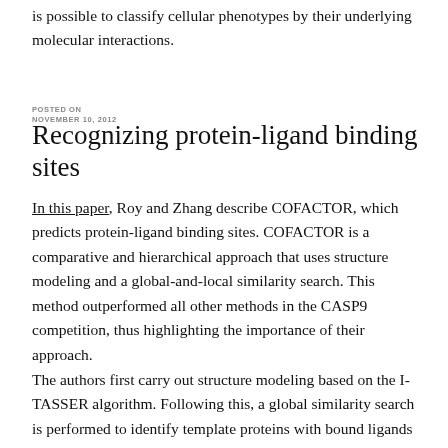is possible to classify cellular phenotypes by their underlying molecular interactions.
NOVEMBER 10, 2012
Recognizing protein-ligand binding sites
In this paper, Roy and Zhang describe COFACTOR, which predicts protein-ligand binding sites. COFACTOR is a comparative and hierarchical approach that uses structure modeling and a global-and-local similarity search. This method outperformed all other methods in the CASP9 competition, thus highlighting the importance of their approach.
The authors first carry out structure modeling based on the I-TASSER algorithm. Following this, a global similarity search is performed to identify template proteins with bound ligands using TM-align. During the local similarity